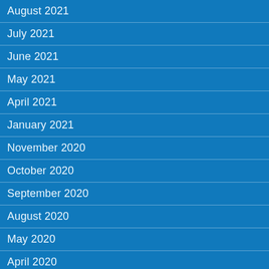August 2021
July 2021
June 2021
May 2021
April 2021
January 2021
November 2020
October 2020
September 2020
August 2020
May 2020
April 2020
March 2020